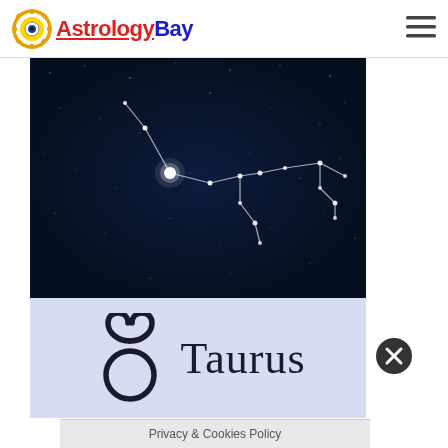AstrologyBay
[Figure (illustration): Taurus constellation star map on dark blue night sky background, with connected white stars forming the Taurus constellation pattern, and a Taurus zodiac symbol with the word 'Taurus' on a light blue-grey banner below]
Privacy & Cookies Policy